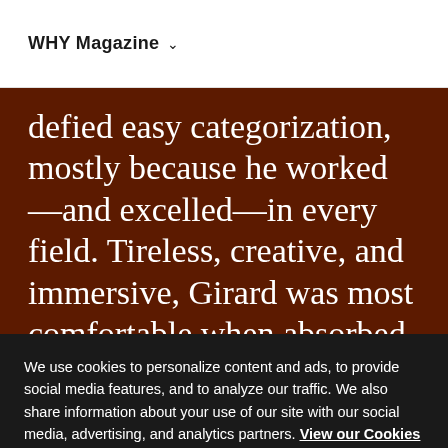WHY Magazine
defied easy categorization, mostly because he worked—and excelled—in every field. Tireless, creative, and immersive, Girard was most comfortable when absorbed in a project, and he managed to complete a staggering
We use cookies to personalize content and ads, to provide social media features, and to analyze our traffic. We also share information about your use of our site with our social media, advertising, and analytics partners. View our Cookies Notice to learn more about how we use cookies and how you can manage them.
Cookies Settings
Accept All Cookies